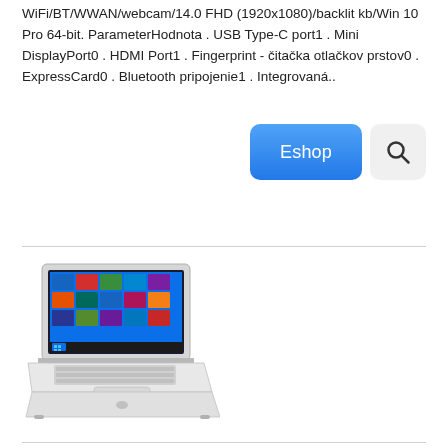WiFi/BT/WWAN/webcam/14.0 FHD (1920x1080)/backlit kb/Win 10 Pro 64-bit. ParameterHodnota . USB Type-C port1 . Mini DisplayPort0 . HDMI Port1 . Fingerprint - čitačka otlačkov prstov0 . ExpressCard0 . Bluetooth pripojenie1 . Integrovaná..
[Figure (other): Blue Eshop button and magnifier/search icon button]
[Figure (photo): HP laptop computer with Windows 10 desktop displayed on screen, silver/white color, viewed from front-left angle]